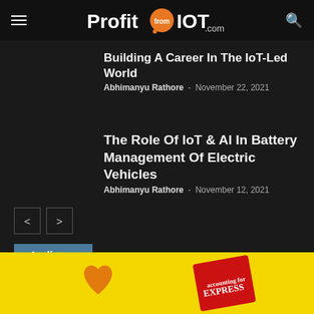ProfitfromIOT.com
Building A Career In The IoT-Led World
Abhimanyu Rathore - November 22, 2021
The Role Of IoT & AI In Battery Management Of Electric Vehicles
Abhimanyu Rathore - November 12, 2021
Audience
Foundries.io And Arduino Teams Up To Deliver Solutions For Linux-based IoT
[Figure (illustration): Yellow advertisement banner with heart icon and Express magazine]